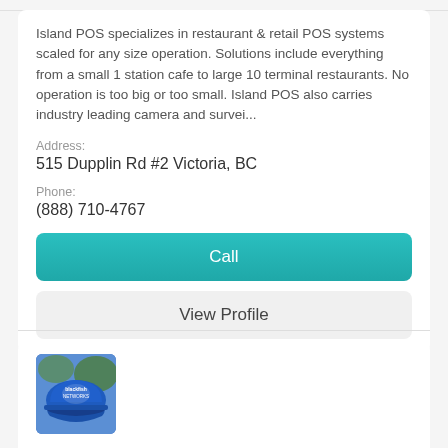Island POS specializes in restaurant & retail POS systems scaled for any size operation. Solutions include everything from a small 1 station cafe to large 10 terminal restaurants. No operation is too big or too small. Island POS also carries industry leading camera and survei...
Address:
515 Dupplin Rd #2 Victoria, BC
Phone:
(888) 710-4767
Call
View Profile
[Figure (photo): Blue hard hat with Blackfish Networks logo]
Blackfish Networks
Computer Repair Services